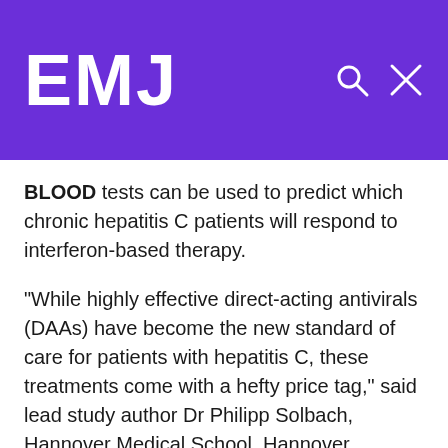EMJ
BLOOD tests can be used to predict which chronic hepatitis C patients will respond to interferon-based therapy.
“While highly effective direct-acting antivirals (DAAs) have become the new standard of care for patients with hepatitis C, these treatments come with a hefty price tag,” said lead study author Dr Philipp Solbach, Hannover Medical School, Hannover, Germany. “There may still be a role for the more affordable interferon-based therapies, and with this new information, we can better assess which patients will respond to this less-expensive treatment.”
Using a cohort of hepatitis C virus (HCV)-infected patients who received interferon-based therapies, the researchers found that levels of oxidised low-density lipoprotein (LDL) in